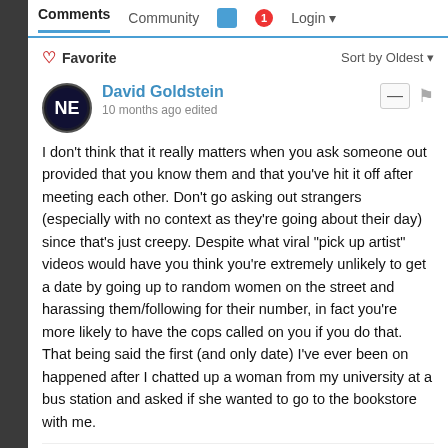Comments  Community  Login
Favorite  Sort by Oldest
David Goldstein
10 months ago edited
I don't think that it really matters when you ask someone out provided that you know them and that you've hit it off after meeting each other. Don't go asking out strangers (especially with no context as they're going about their day) since that's just creepy. Despite what viral "pick up artist" videos would have you think you're extremely unlikely to get a date by going up to random women on the street and harassing them/following for their number, in fact you're more likely to have the cops called on you if you do that. That being said the first (and only date) I've ever been on happened after I chatted up a woman from my university at a bus station and asked if she wanted to go to the bookstore with me.
1
Jimmy Two-Hammers → David Gol...